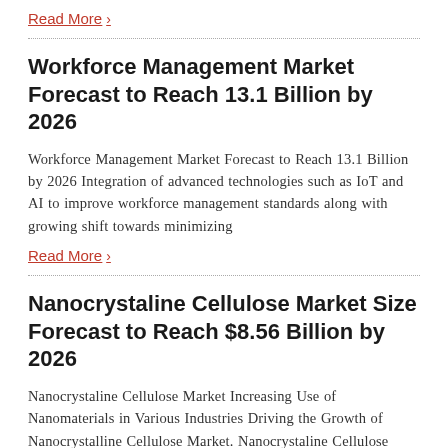Read More >
Workforce Management Market Forecast to Reach 13.1 Billion by 2026
Workforce Management Market Forecast to Reach 13.1 Billion by 2026 Integration of advanced technologies such as IoT and AI to improve workforce management standards along with growing shift towards minimizing
Read More >
Nanocrystaline Cellulose Market Size Forecast to Reach $8.56 Billion by 2026
Nanocrystaline Cellulose Market Increasing Use of Nanomaterials in Various Industries Driving the Growth of Nanocrystalline Cellulose Market. Nanocrystaline Cellulose Market size is forecast to reach US$8.56 billion by 2026 and